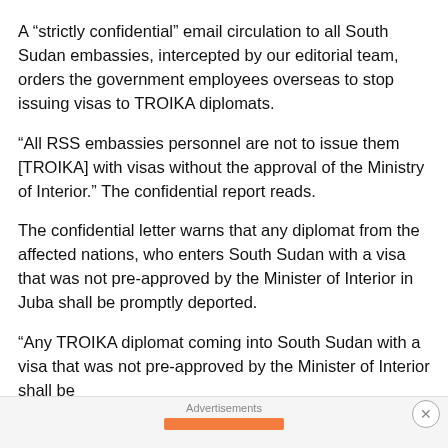A “strictly confidential” email circulation to all South Sudan embassies, intercepted by our editorial team, orders the government employees overseas to stop issuing visas to TROIKA diplomats.
“All RSS embassies personnel are not to issue them [TROIKA] with visas without the approval of the Ministry of Interior.” The confidential report reads.
The confidential letter warns that any diplomat from the affected nations, who enters South Sudan with a visa that was not pre-approved by the Minister of Interior in Juba shall be promptly deported.
“Any TROIKA diplomat coming into South Sudan with a visa that was not pre-approved by the Minister of Interior shall be
Advertisements